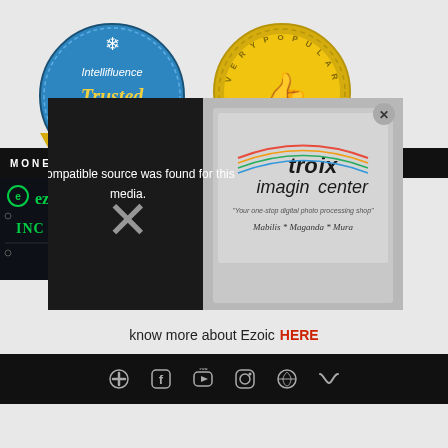[Figure (logo): Intellifluence Trusted Blogger badge - circular blue badge with yellow ribbon banner and snowflake/star decorations]
[Figure (logo): Intellifluence Very Popular badge - circular gold badge with thumbs up icon and decorative border]
[Figure (screenshot): Video player overlay showing 'No compatible source was found for this media.' text with X mark, overlaying a Tropix Imaging Center store photo]
know more about Ezoic HERE
[Figure (infographic): Social media icons row: RSS, Facebook, YouTube, Instagram, Pinterest, Twitter on black footer bar]